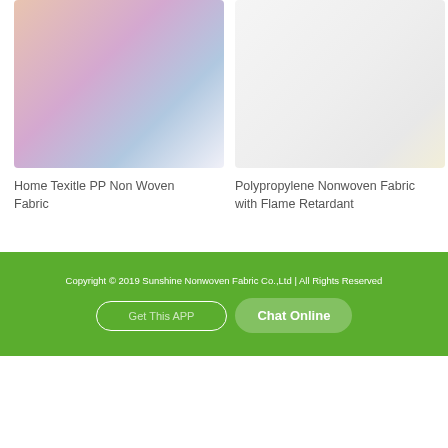[Figure (photo): Rolls of colorful PP non-woven fabric in pink, purple, blue colors on a white surface]
Home Texitle PP Non Woven Fabric
[Figure (photo): White polypropylene nonwoven fabric with flame retardant, light background]
Polypropylene Nonwoven Fabric with Flame Retardant
Copyright © 2019 Sunshine Nonwoven Fabric Co.,Ltd | All Rights Reserved